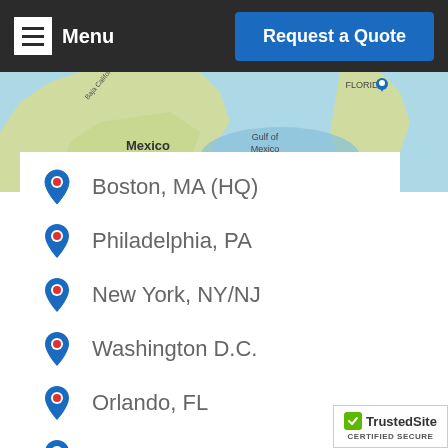Menu | Request a Quote
[Figure (map): Map showing North America including Mexico, Gulf of Mexico, and Florida]
Boston, MA (HQ)
Philadelphia, PA
New York, NY/NJ
Washington D.C.
Orlando, FL
Dallas/Ft Worth, TX
Chicago, IL
Las Vegas, NV
Anaheim, CA
[Figure (logo): TrustedSite Certified Secure badge]